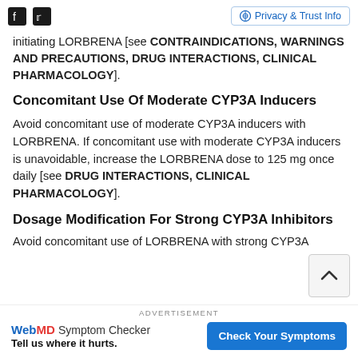Facebook Twitter | Privacy & Trust Info
initiating LORBRENA [see CONTRAINDICATIONS, WARNINGS AND PRECAUTIONS, DRUG INTERACTIONS, CLINICAL PHARMACOLOGY].
Concomitant Use Of Moderate CYP3A Inducers
Avoid concomitant use of moderate CYP3A inducers with LORBRENA. If concomitant use with moderate CYP3A inducers is unavoidable, increase the LORBRENA dose to 125 mg once daily [see DRUG INTERACTIONS, CLINICAL PHARMACOLOGY].
Dosage Modification For Strong CYP3A Inhibitors
Avoid concomitant use of LORBRENA with strong CYP3A
ADVERTISEMENT
WebMD Symptom Checker
Tell us where it hurts.
Check Your Symptoms